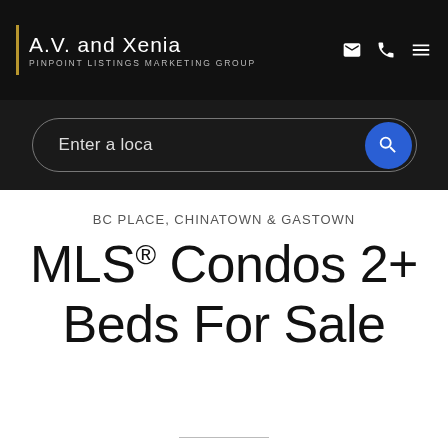A.V. and Xenia — PINPOINT LISTINGS MARKETING GROUP
Enter a loca
BC PLACE, CHINATOWN & GASTOWN
MLS® Condos 2+ Beds For Sale